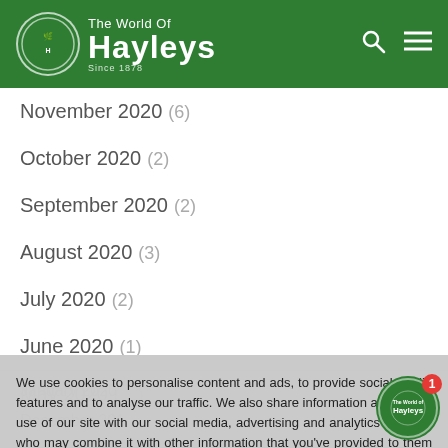The World Of Hayleys
November 2020 (6)
October 2020 (2)
September 2020 (2)
August 2020 (3)
July 2020 (2)
June 2020 (1)
May 2020 (...)
We use cookies to personalise content and ads, to provide social media features and to analyse our traffic. We also share information about your use of our site with our social media, advertising and analytics partners who may combine it with other information that you've provided to them or that they've collected from your use of their services. You consent to our cookies if you continue to use our website.
January 2020
December 2019